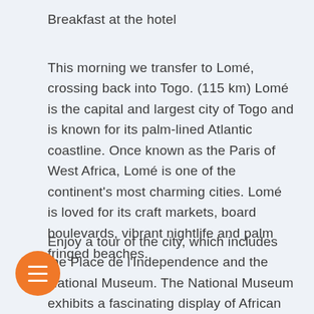Breakfast at the hotel
This morning we transfer to Lomé, crossing back into Togo. (115 km) Lomé is the capital and largest city of Togo and is known for its palm-lined Atlantic coastline. Once known as the Paris of West Africa, Lomé is one of the continent's most charming cities. Lomé is loved for its craft markets, board boulevards, vibrant nightlife and palm fringed beaches.
Enjoy a tour of the city, which includes the Place de l'Independence and the National Museum. The National Museum exhibits a fascinating display of African jewellery, masks, musical instruments and pottery. You will also have the chance to observe sacred voodoo shrines side by side with the city's